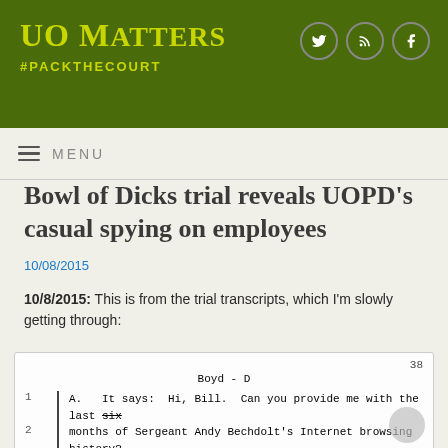UO Matters #PACKTHECOURT
Bowl of Dicks trial reveals UOPD’s casual spying on employees
10/08/2015
10/8/2015: This is from the trial transcripts, which I’m slowly getting through:
[Figure (screenshot): Transcript page excerpt showing page 38, Boyd - D, lines 1-3: A. It says: Hi, Bill. Can you provide me with the last six months of Sergeant Andy Bechdolt's Internet browsing history? Thanks. Brandon.]